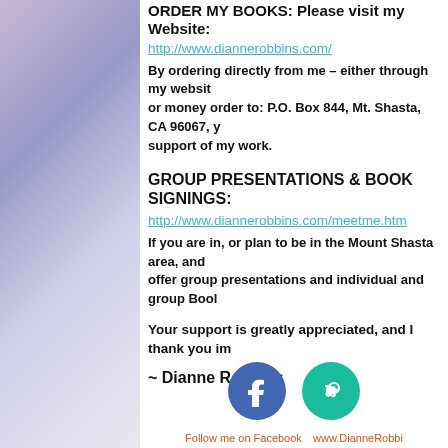ORDER MY BOOKS: Please visit my Website:
http://www.diannerobbins.com/
By ordering directly from me – either through my website or money order to: P.O. Box 844, Mt. Shasta, CA 96067, y... support of my work.
GROUP PRESENTATIONS & BOOK SIGNINGS:
http://www.diannerobbins.com/meetme.htm
If you are in, or plan to be in the Mount Shasta area, and offer group presentations and individual and group Boo...
Your support is greatly appreciated, and I thank you im...
~ Dianne Robbins
[Figure (illustration): Facebook icon circle button and link/chain icon circle button, with social media labels below]
Follow me on Facebook   www.DianneRobbi...